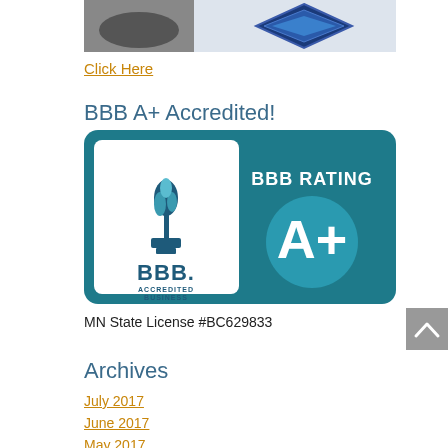[Figure (photo): Partial top image showing a vehicle and a blue diamond-shaped logo/badge, cropped at the top of the page]
Click Here
BBB A+ Accredited!
[Figure (logo): BBB Accredited Business badge showing the BBB torch logo on the left with 'BBB. ACCREDITED BUSINESS' text, and on the right 'BBB RATING A+' with a teal circle showing A+]
MN State License #BC629833
Archives
July 2017
June 2017
May 2017
September 2016